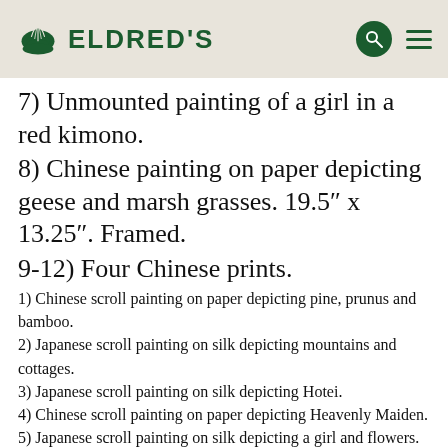ELDRED'S
7) Unmounted painting of a girl in a red kimono.
8) Chinese painting on paper depicting geese and marsh grasses. 19.5" x 13.25". Framed.
9-12) Four Chinese prints.
1) Chinese scroll painting on paper depicting pine, prunus and bamboo.
2) Japanese scroll painting on silk depicting mountains and cottages.
3) Japanese scroll painting on silk depicting Hotei.
4) Chinese scroll painting on paper depicting Heavenly Maiden.
5) Japanese scroll painting on silk depicting a girl and flowers.
6) Japanese scroll painting on silk depicting a bird and fruit.